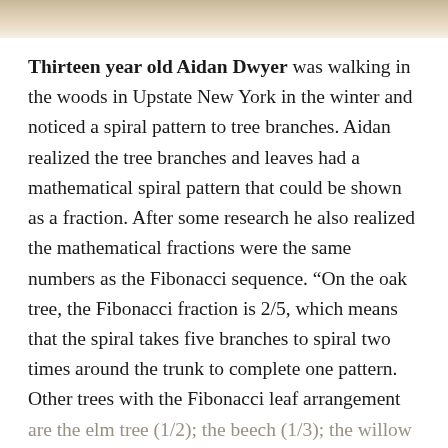[Figure (photo): Partial photograph visible at top of page, cropped, showing indistinct content in sepia/tan tones.]
Thirteen year old Aidan Dwyer was walking in the woods in Upstate New York in the winter and noticed a spiral pattern to tree branches. Aidan realized the tree branches and leaves had a mathematical spiral pattern that could be shown as a fraction. After some research he also realized the mathematical fractions were the same numbers as the Fibonacci sequence. “On the oak tree, the Fibonacci fraction is 2/5, which means that the spiral takes five branches to spiral two times around the trunk to complete one pattern. Other trees with the Fibonacci leaf arrangement are the elm tree (1/2); the beech (1/3); the willow (3/8) and the almond tree (5/13).”*